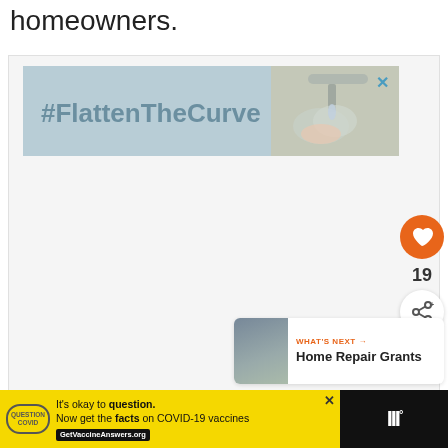homeowners.
[Figure (screenshot): Advertisement banner with #FlattenTheCurve text on blue-gray background with faucet/handwashing image on right, and close X button]
[Figure (other): Heart/like button (orange circle with heart icon)]
19
[Figure (other): Share button (white circle with share icon)]
[Figure (other): What's Next card with building thumbnail image, orange 'WHAT'S NEXT' label, and 'Home Repair Grants' title]
[Figure (screenshot): Bottom advertisement: yellow background ad with pill/badge icon, text 'It’s okay to question. Now get the facts on COVID-19 vaccines GetVaccineAnswers.org' with close button, and black section with stylized W degree logo]